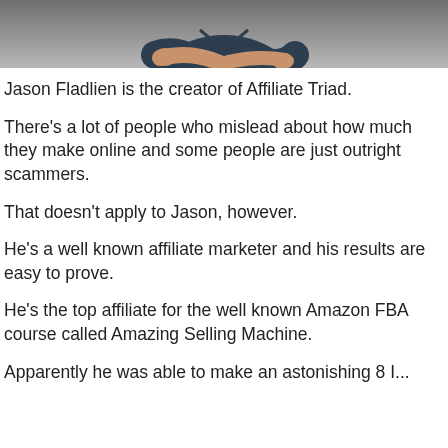[Figure (photo): Cropped photo of a person (Jason Fladlien), showing only the lower portion of the image with torso and crossed arms against a light background.]
Jason Fladlien is the creator of Affiliate Triad.
There's a lot of people who mislead about how much they make online and some people are just outright scammers.
That doesn't apply to Jason, however.
He's a well known affiliate marketer and his results are easy to prove.
He's the top affiliate for the well known Amazon FBA course called Amazing Selling Machine.
Apparently he was able to make an astonishing 8 I...